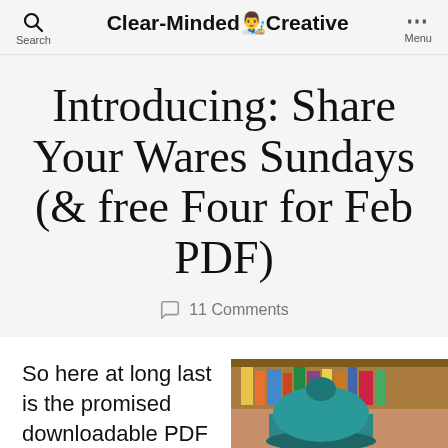Search  Clear-Minded Creative  Menu
Introducing: Share Your Wares Sundays (& free Four for Feb PDF)
11 Comments
So here at long last is the promised downloadable PDF
[Figure (photo): A person wearing a teal/blue knitted hat, with bookshelves visible in the background.]